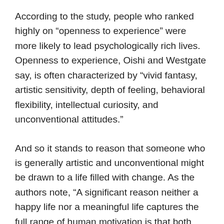According to the study, people who ranked highly on “openness to experience” were more likely to lead psychologically rich lives. Openness to experience, Oishi and Westgate say, is often characterized by “vivid fantasy, artistic sensitivity, depth of feeling, behavioral flexibility, intellectual curiosity, and unconventional attitudes.”
And so it stands to reason that someone who is generally artistic and unconventional might be drawn to a life filled with change. As the authors note, “A significant reason neither a happy life nor a meaningful life captures the full range of human motivation is that both happy and meaningful lives can be monotonous and repetitive.”
Is psychological richness a WEIRD